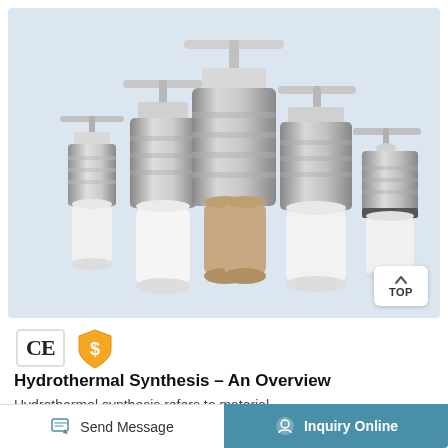[Figure (photo): Five hydrothermal synthesis autoclaves of varying sizes arranged together. The reactors have stainless steel outer bodies with T-bar handles on top and white or tan/brown inner PTFE/ceramic liners visible at the bottom. Displayed against a light blue-grey background.]
[Figure (logo): CE certification mark (black letters on white bordered badge) and an Alibaba/trade assurance shield icon (orange/yellow shield with dollar sign)]
Hydrothermal Synthesis – An Overview
Hydrothermal synthesis refers to material
Send Message
Inquiry Online